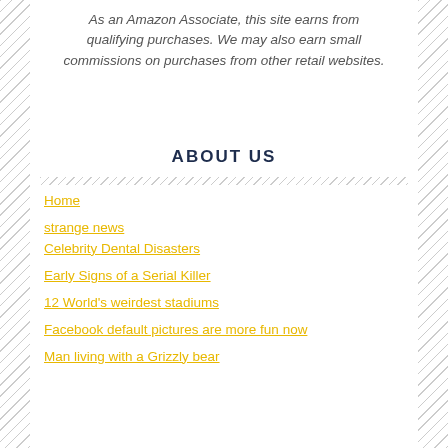As an Amazon Associate, this site earns from qualifying purchases. We may also earn small commissions on purchases from other retail websites.
ABOUT US
Home
strange news
Celebrity Dental Disasters
Early Signs of a Serial Killer
12 World's weirdest stadiums
Facebook default pictures are more fun now
Man living with a Grizzly bear